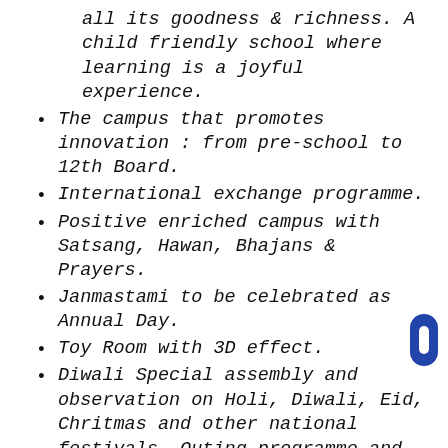all its goodness & richness. A child friendly school where learning is a joyful experience.
The campus that promotes innovation : from pre-school to 12th Board.
International exchange programme.
Positive enriched campus with Satsang, Hawan, Bhajans & Prayers.
Janmastami to be celebrated as Annual Day.
Toy Room with 3D effect.
Diwali Special assembly and observation on Holi, Diwali, Eid, Chritmas and other national festivals. Outing programme and study for the students.
Teachers training and